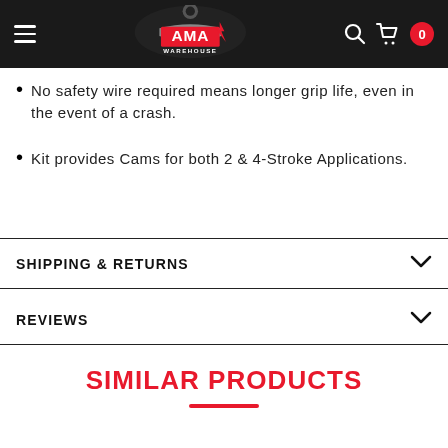AMA Warehouse
No safety wire required means longer grip life, even in the event of a crash.
Kit provides Cams for both 2 & 4-Stroke Applications.
SHIPPING & RETURNS
REVIEWS
SIMILAR PRODUCTS